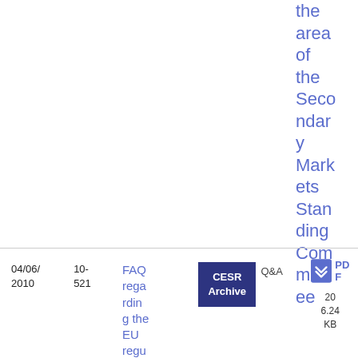the area of the Secondary Markets Standing Committee
04/06/2010
10-521
FAQ regarding the EU regulatio
CESR Archive
Q&A
PDF
206.24 KB